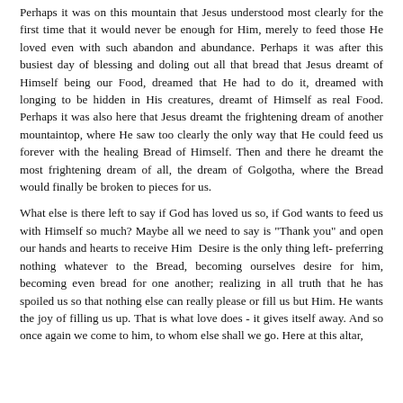Perhaps it was on this mountain that Jesus understood most clearly for the first time that it would never be enough for Him, merely to feed those He loved even with such abandon and abundance. Perhaps it was after this busiest day of blessing and doling out all that bread that Jesus dreamt of Himself being our Food, dreamed that He had to do it, dreamed with longing to be hidden in His creatures, dreamt of Himself as real Food. Perhaps it was also here that Jesus dreamt the frightening dream of another mountaintop, where He saw too clearly the only way that He could feed us forever with the healing Bread of Himself. Then and there he dreamt the most frightening dream of all, the dream of Golgotha, where the Bread would finally be broken to pieces for us.
What else is there left to say if God has loved us so, if God wants to feed us with Himself so much? Maybe all we need to say is "Thank you" and open our hands and hearts to receive Him  Desire is the only thing left- preferring nothing whatever to the Bread, becoming ourselves desire for him, becoming even bread for one another; realizing in all truth that he has spoiled us so that nothing else can really please or fill us but Him. He wants the joy of filling us up. That is what love does - it gives itself away. And so once again we come to him, to whom else shall we go. Here at this altar,